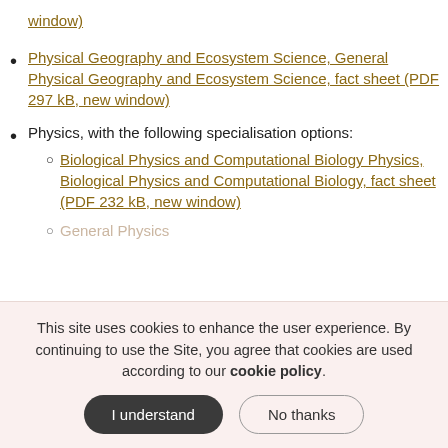window)
Physical Geography and Ecosystem Science, General Physical Geography and Ecosystem Science, fact sheet (PDF 297 kB, new window)
Physics, with the following specialisation options:
Biological Physics and Computational Biology Physics, Biological Physics and Computational Biology, fact sheet (PDF 232 kB, new window)
General Physics
This site uses cookies to enhance the user experience. By continuing to use the Site, you agree that cookies are used according to our cookie policy.